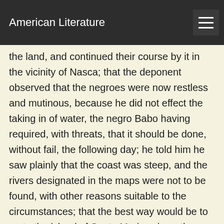American Literature
the land, and continued their course by it in the vicinity of Nasca; that the deponent observed that the negroes were now restless and mutinous, because he did not effect the taking in of water, the negro Babo having required, with threats, that it should be done, without fail, the following day; he told him he saw plainly that the coast was steep, and the rivers designated in the maps were not to be found, with other reasons suitable to the circumstances; that the best way would be to go to the island of Santa Maria, where they might water easily, it being a solitary island, as the foreigners did; that the deponent did not go to Pisco, that was